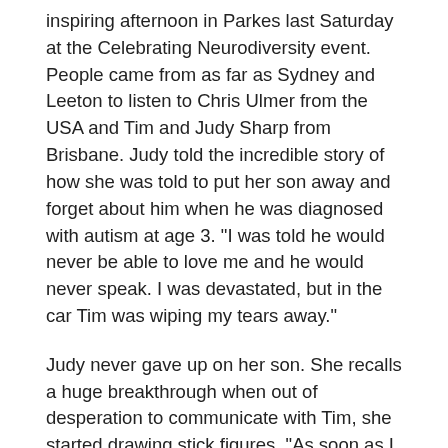inspiring afternoon in Parkes last Saturday at the Celebrating Neurodiversity event. People came from as far as Sydney and Leeton to listen to Chris Ulmer from the USA and Tim and Judy Sharp from Brisbane. Judy told the incredible story of how she was told to put her son away and forget about him when he was diagnosed with autism at age 3. "I was told he would never be able to love me and he would never speak. I was devastated, but in the car Tim was wiping my tears away."
Judy never gave up on her son. She recalls a huge breakthrough when out of desperation to communicate with Tim, she started drawing stick figures. "As soon as I put the pencil down, he pushed my hand back to the pencil." Tim started drawing every day and at 11 invented Laser Beak Man. Today he is an internationally acclaimed